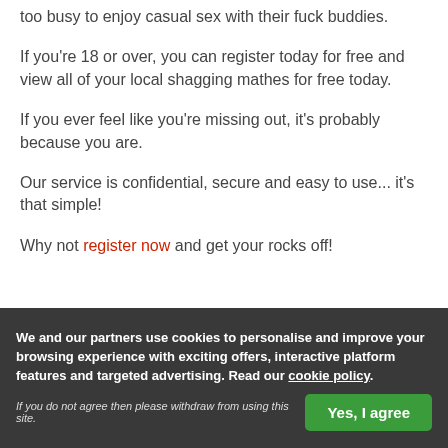too busy to enjoy casual sex with their fuck buddies.
If you're 18 or over, you can register today for free and view all of your local shagging mathes for free today.
If you ever feel like you're missing out, it's probably because you are.
Our service is confidential, secure and easy to use... it's that simple!
Why not register now and get your rocks off!
We and our partners use cookies to personalise and improve your browsing experience with exciting offers, interactive platform features and targeted advertising. Read our cookie policy.
If you do not agree then please withdraw from using this site.